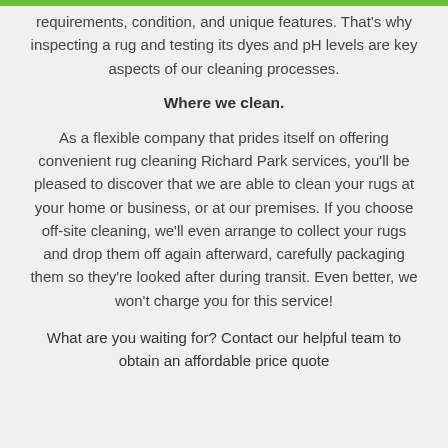requirements, condition, and unique features. That's why inspecting a rug and testing its dyes and pH levels are key aspects of our cleaning processes.
Where we clean.
As a flexible company that prides itself on offering convenient rug cleaning Richard Park services, you'll be pleased to discover that we are able to clean your rugs at your home or business, or at our premises. If you choose off-site cleaning, we'll even arrange to collect your rugs and drop them off again afterward, carefully packaging them so they're looked after during transit. Even better, we won't charge you for this service!
What are you waiting for? Contact our helpful team to obtain an affordable price quote